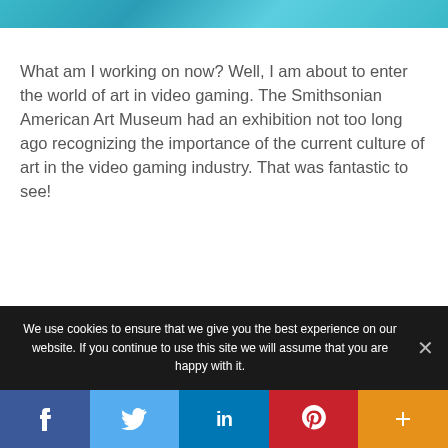[Figure (photo): Partial top banner image with teal/blue gradient colors]
What am I working on now? Well, I am about to enter the world of art in video gaming. The Smithsonian American Art Museum had an exhibition not too long ago recognizing the importance of the current culture of art in the video gaming industry. That was fantastic to see!
We use cookies to ensure that we give you the best experience on our website. If you continue to use this site we will assume that you are happy with it.
[Figure (infographic): Social share buttons bar: Facebook (dark blue), Twitter (light blue), LinkedIn (blue), Pinterest (red), More/Plus (orange)]